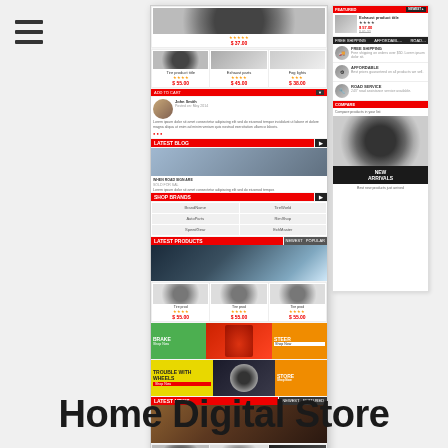[Figure (screenshot): Hamburger menu icon in top left corner of page]
[Figure (screenshot): Automotive e-commerce website screenshot showing a car parts store called ARION with product grids featuring tires, wheels, headlights, car interior accessories, promotional banners in green/yellow/orange, blog sections, services sidebar, new arrivals section, and dark footer with logo and payment icons]
Home Digital Store